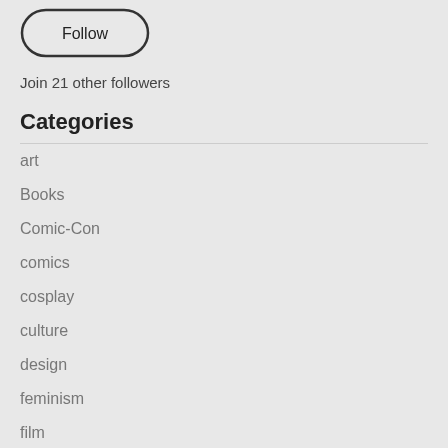[Figure (other): Follow button — rounded rectangle outline with text 'Follow' inside]
Join 21 other followers
Categories
art
Books
Comic-Con
comics
cosplay
culture
design
feminism
film
food
Gaming